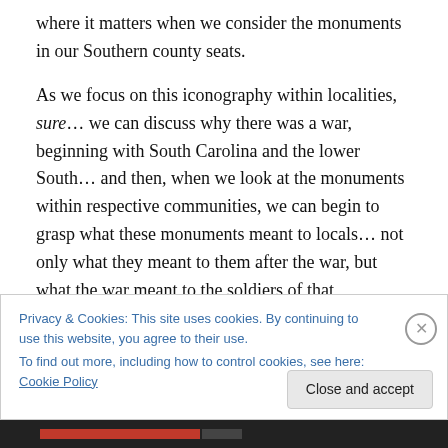where it matters when we consider the monuments in our Southern county seats.
As we focus on this iconography within localities, sure… we can discuss why there was a war, beginning with South Carolina and the lower South… and then, when we look at the monuments within respective communities, we can begin to grasp what these monuments meant to locals… not only what they meant to them after the war, but what the war meant to the soldiers of that community as they donned gray and butternut. No matter how much some
Privacy & Cookies: This site uses cookies. By continuing to use this website, you agree to their use.
To find out more, including how to control cookies, see here: Cookie Policy